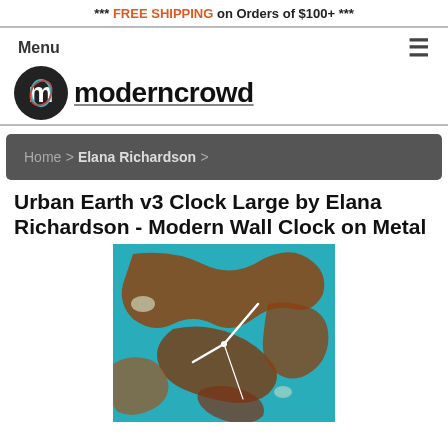*** FREE SHIPPING on Orders of $100+ ***
Menu
[Figure (logo): moderncrowd logo with circular icon and bold text]
Home > Elana Richardson >
Urban Earth v3 Clock Large by Elana Richardson - Modern Wall Clock on Metal
[Figure (photo): A rectangular wall clock featuring a map-style artwork with turquoise blue oceans and rust/brown landmasses, with white clock hands]